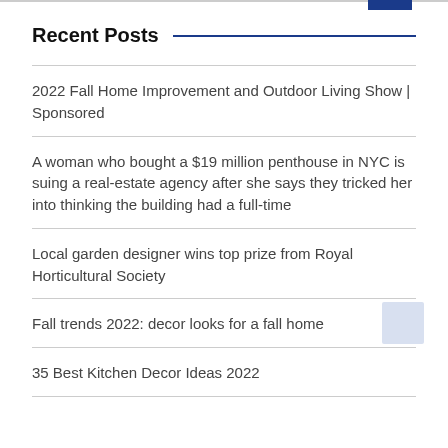Recent Posts
2022 Fall Home Improvement and Outdoor Living Show | Sponsored
A woman who bought a $19 million penthouse in NYC is suing a real-estate agency after she says they tricked her into thinking the building had a full-time
Local garden designer wins top prize from Royal Horticultural Society
Fall trends 2022: decor looks for a fall home
35 Best Kitchen Decor Ideas 2022